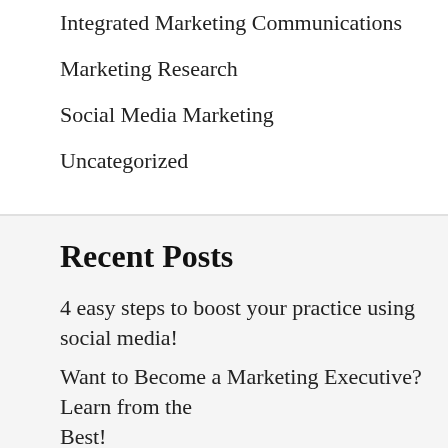Integrated Marketing Communications
Marketing Research
Social Media Marketing
Uncategorized
Recent Posts
4 easy steps to boost your practice using social media!
Want to Become a Marketing Executive? Learn from the Best!
Building Community Through Social Media
Tips for Effective Social Media Ads